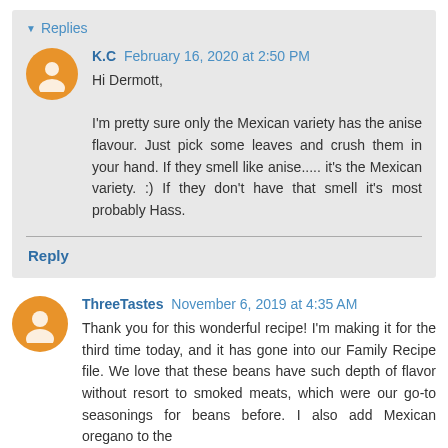Replies
K.C February 16, 2020 at 2:50 PM
Hi Dermott,

I'm pretty sure only the Mexican variety has the anise flavour. Just pick some leaves and crush them in your hand. If they smell like anise..... it's the Mexican variety. :) If they don't have that smell it's most probably Hass.
Reply
ThreeTastes November 6, 2019 at 4:35 AM
Thank you for this wonderful recipe! I'm making it for the third time today, and it has gone into our Family Recipe file. We love that these beans have such depth of flavor without resort to smoked meats, which were our go-to seasonings for beans before. I also add Mexican oregano to the